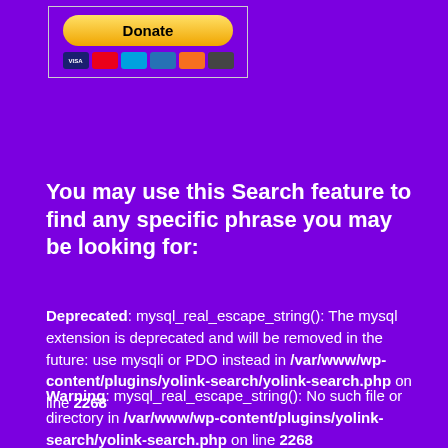[Figure (other): PayPal Donate button with credit card icons (Visa, Mastercard, Maestro, Amex, Discover, and one more) inside a bordered box]
You may use this Search feature to find any specific phrase you may be looking for:
Deprecated: mysql_real_escape_string(): The mysql extension is deprecated and will be removed in the future: use mysqli or PDO instead in /var/www/wp-content/plugins/yolink-search/yolink-search.php on line 2268
Warning: mysql_real_escape_string(): No such file or directory in /var/www/wp-content/plugins/yolink-search/yolink-search.php on line 2268